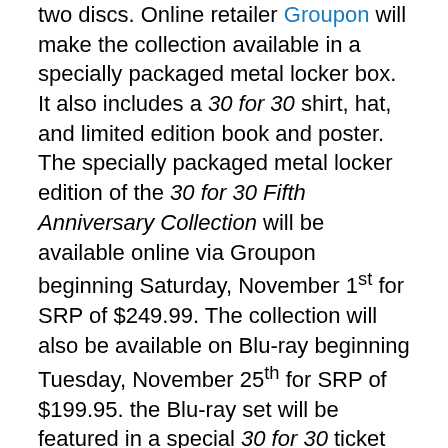two discs.  Online retailer Groupon will make the collection available in a specially packaged metal locker box.  It also includes a 30 for 30 shirt, hat, and limited edition book and poster.  The specially packaged metal locker edition of the 30 for 30 Fifth Anniversary Collection will be available online via Groupon beginning Saturday, November 1st for SRP of $249.99.  The collection will also be available on Blu-ray beginning Tuesday, November 25th for SRP of $199.95.  the Blu-ray set will be featured in a special 30 for 30 ticket box.
The films included in the upcoming 30 for 30 Fifth Anniversary Collection include films not only from its primary 30 for 30 series, but also from its 30 for 30 Soccer Stories and Nine for IX series.
The films included in the “30 for 30 Fifth Anniversary